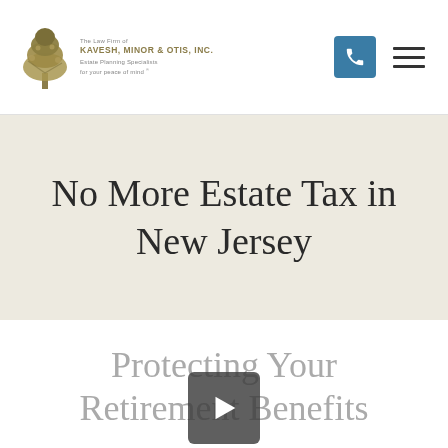The Law Firm of KAVESH, MINOR & OTIS, INC. — Estate Planning Specialists for your peace of mind
No More Estate Tax in New Jersey
[Figure (screenshot): Video thumbnail with play button overlay. Title text reads: Protecting Your Retirement Benefits]